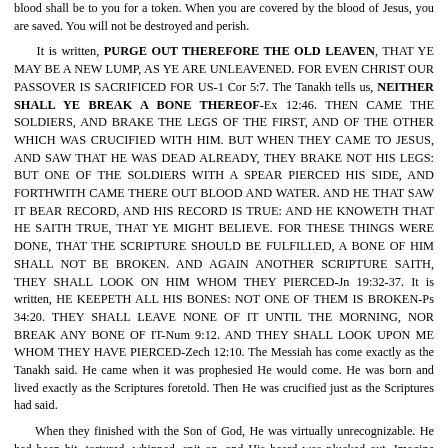blood shall be to you for a token. When you are covered by the blood of Jesus, you are saved. You will not be destroyed and perish.
It is written, PURGE OUT THEREFORE THE OLD LEAVEN, THAT YE MAY BE A NEW LUMP, AS YE ARE UNLEAVENED. FOR EVEN CHRIST OUR PASSOVER IS SACRIFICED FOR US-1 Cor 5:7. The Tanakh tells us, NEITHER SHALL YE BREAK A BONE THEREOF-Ex 12:46. THEN CAME THE SOLDIERS, AND BRAKE THE LEGS OF THE FIRST, AND OF THE OTHER WHICH WAS CRUCIFIED WITH HIM. BUT WHEN THEY CAME TO JESUS, AND SAW THAT HE WAS DEAD ALREADY, THEY BRAKE NOT HIS LEGS: BUT ONE OF THE SOLDIERS WITH A SPEAR PIERCED HIS SIDE, AND FORTHWITH CAME THERE OUT BLOOD AND WATER. AND HE THAT SAW IT BEAR RECORD, AND HIS RECORD IS TRUE: AND HE KNOWETH THAT HE SAITH TRUE, THAT YE MIGHT BELIEVE. FOR THESE THINGS WERE DONE, THAT THE SCRIPTURE SHOULD BE FULFILLED, A BONE OF HIM SHALL NOT BE BROKEN. AND AGAIN ANOTHER SCRIPTURE SAITH, THEY SHALL LOOK ON HIM WHOM THEY PIERCED-Jn 19:32-37. It is written, HE KEEPETH ALL HIS BONES: NOT ONE OF THEM IS BROKEN-Ps 34:20. THEY SHALL LEAVE NONE OF IT UNTIL THE MORNING, NOR BREAK ANY BONE OF IT-Num 9:12. AND THEY SHALL LOOK UPON ME WHOM THEY HAVE PIERCED-Zech 12:10. The Messiah has come exactly as the Tanakh said. He came when it was prophesied He would come. He was born and lived exactly as the Scriptures foretold. Then He was crucified just as the Scriptures had said.
When they finished with the Son of God, He was virtually unrecognizable. He had been hit, tortured, whipped, spit on, and His beard was plucked out. Imagine what it would be like to have one's beard torn off one's face. He had a crown of